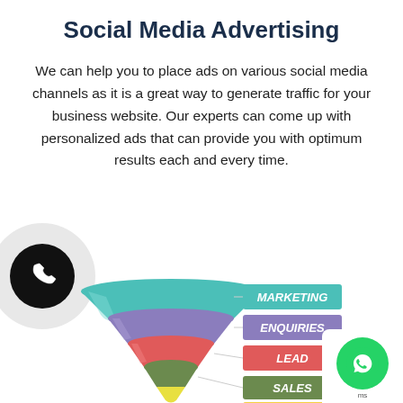Social Media Advertising
We can help you to place ads on various social media channels as it is a great way to generate traffic for your business website. Our experts can come up with personalized ads that can provide you with optimum results each and every time.
[Figure (illustration): A phone call button: a large light grey outer circle with a smaller black inner circle containing a white telephone handset icon.]
[Figure (infographic): A marketing funnel diagram showing four colored funnel layers (teal, purple, red/coral, olive green) with a yellow bottom tip, each paired with colored label boxes on the right: MARKETING (teal), ENQUIRIES (purple), LEAD (red), SALES (olive green), and a partially visible CUSTOMER label at the bottom.]